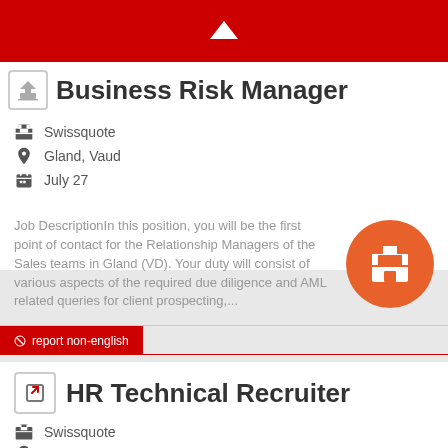^
Business Risk Manager
Swissquote
Gland, Vaud
July 27
Job DescriptionIn this position, you will be the first point of contact for the Relationship Managers of the Sales teams in Gland (VD). Your duty will consist of various aspects of the required due diligence and AML related queries for client prospecting,...
⊘ report non-english
HR Technical Recruiter
Swissquote
Gland, Vaud
July 22